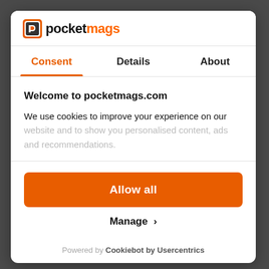[Figure (logo): Pocketmags logo with icon and text]
Consent | Details | About
Welcome to pocketmags.com
We use cookies to improve your experience on our website and to show you personalised content, ads and recommendations.
Allow all
Manage
Powered by Cookiebot by Usercentrics